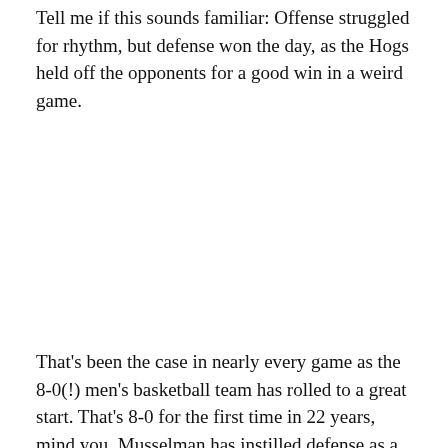Tell me if this sounds familiar: Offense struggled for rhythm, but defense won the day, as the Hogs held off the opponents for a good win in a weird game.
[Figure (photo): Blank/white image placeholder area in the middle of the page]
That's been the case in nearly every game as the 8-0(!) men's basketball team has rolled to a great start. That's 8-0 for the first time in 22 years, mind you. Musselman has instilled defense as a defining valu